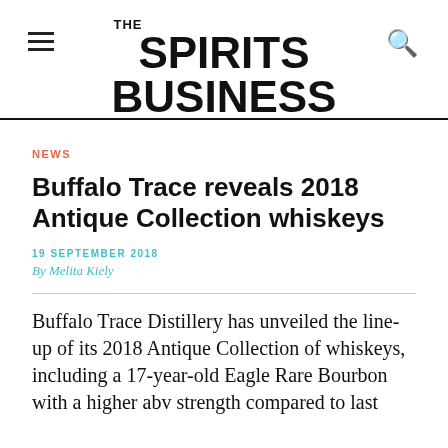THE SPIRITS BUSINESS
NEWS
Buffalo Trace reveals 2018 Antique Collection whiskeys
19 SEPTEMBER 2018
By Melita Kiely
Buffalo Trace Distillery has unveiled the line-up of its 2018 Antique Collection of whiskeys, including a 17-year-old Eagle Rare Bourbon with a higher abv strength compared to last